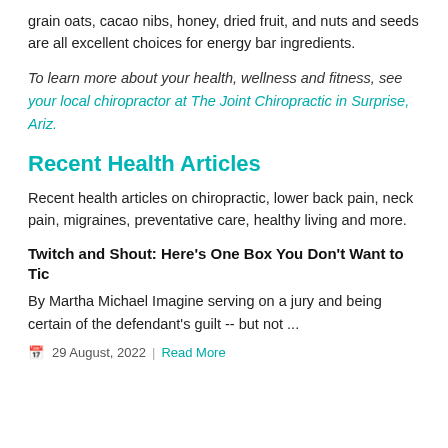grain oats, cacao nibs, honey, dried fruit, and nuts and seeds are all excellent choices for energy bar ingredients.
To learn more about your health, wellness and fitness, see your local chiropractor at The Joint Chiropractic in Surprise, Ariz.
Recent Health Articles
Recent health articles on chiropractic, lower back pain, neck pain, migraines, preventative care, healthy living and more.
Twitch and Shout: Here's One Box You Don't Want to Tic
By Martha Michael Imagine serving on a jury and being certain of the defendant's guilt -- but not ...
29 August, 2022  |  Read More